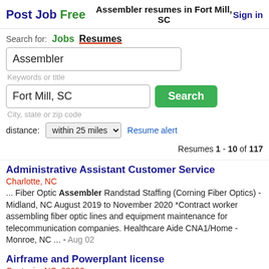Post Job Free — Assembler resumes in Fort Mill, SC — Sign in
Search for: Jobs Resumes
Assembler
Keywords or title
Fort Mill, SC
City, state or zip code
distance: within 25 miles  Resume alert  Resumes 1 - 10 of 117
Administrative Assistant Customer Service
Charlotte, NC
... Fiber Optic Assembler Randstad Staffing (Corning Fiber Optics) - Midland, NC August 2019 to November 2020 *Contract worker assembling fiber optic lines and equipment maintenance for telecommunication companies. Healthcare Aide CNA1/Home - Monroe, NC ... - Aug 02
Airframe and Powerplant license
Gastonia, NC, 28052
GKN Driveline North America Assembler Technician Newton, NC